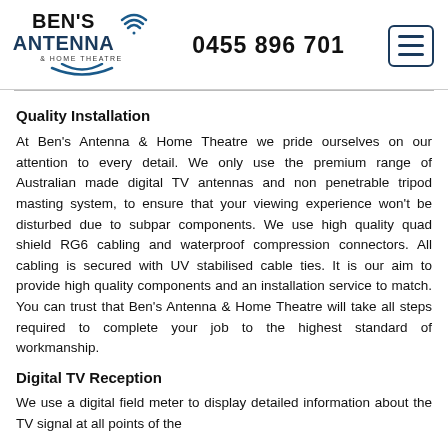[Figure (logo): Ben's Antenna & Home Theatre logo with wifi signal icon]
0455 896 701
Quality Installation
At Ben's Antenna & Home Theatre we pride ourselves on our attention to every detail. We only use the premium range of Australian made digital TV antennas and non penetrable tripod masting system, to ensure that your viewing experience won't be disturbed due to subpar components. We use high quality quad shield RG6 cabling and waterproof compression connectors. All cabling is secured with UV stabilised cable ties. It is our aim to provide high quality components and an installation service to match. You can trust that Ben's Antenna & Home Theatre will take all steps required to complete your job to the highest standard of workmanship.
Digital TV Reception
We use a digital field meter to display detailed information about the TV signal at all points of the